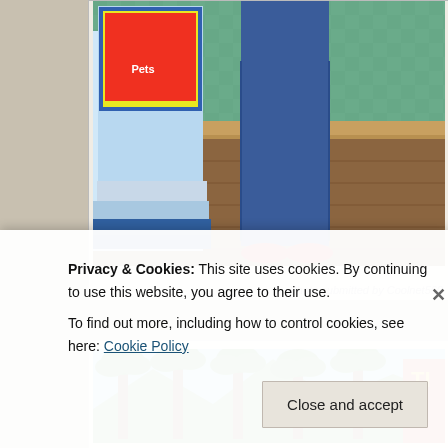[Figure (screenshot): A virtual game screenshot showing a character in blue jeans and red shoes standing next to a pets kiosk, with a green patterned wall background and brown floor.]
Photo submitted by Coolnet560
[Figure (screenshot): A virtual game screenshot showing a tropical scene with palm trees, blue sky, and a sign with 'beg' text, and a red building on the right side.]
Privacy & Cookies: This site uses cookies. By continuing to use this website, you agree to their use.
To find out more, including how to control cookies, see here: Cookie Policy
Close and accept